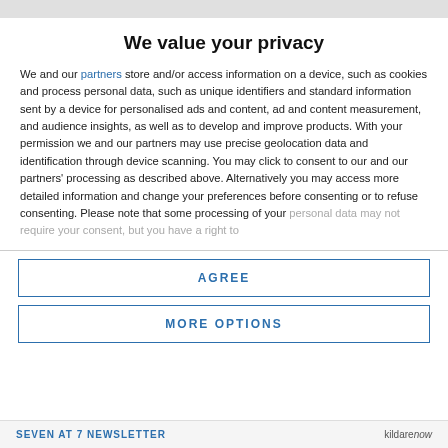We value your privacy
We and our partners store and/or access information on a device, such as cookies and process personal data, such as unique identifiers and standard information sent by a device for personalised ads and content, ad and content measurement, and audience insights, as well as to develop and improve products. With your permission we and our partners may use precise geolocation data and identification through device scanning. You may click to consent to our and our partners' processing as described above. Alternatively you may access more detailed information and change your preferences before consenting or to refuse consenting. Please note that some processing of your personal data may not require your consent, but you have a right to
AGREE
MORE OPTIONS
SEVEN AT 7 NEWSLETTER   kildare now